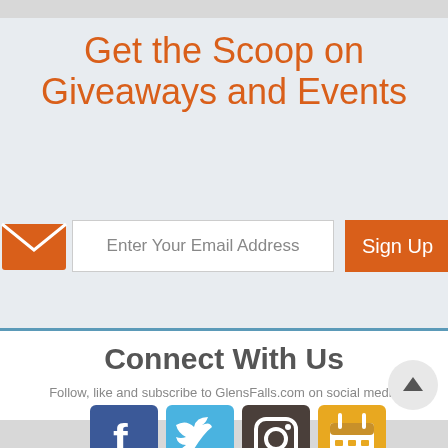Get the Scoop on Giveaways and Events
Enter Your Email Address
Sign Up
Connect With Us
Follow, like and subscribe to GlensFalls.com on social media
[Figure (infographic): Four social media icons: Facebook (blue), Twitter (light blue), Instagram (dark brown/gray), and a calendar/events icon (yellow/gold)]